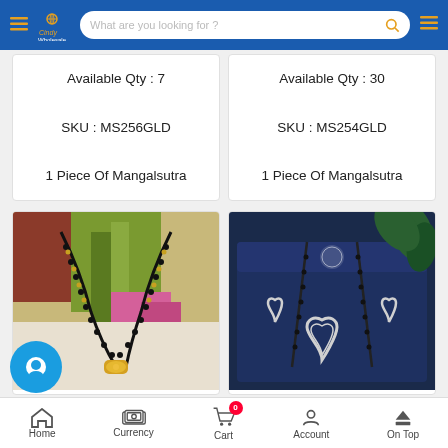Cindy Wholesale — navigation bar with search
Available Qty : 7
SKU : MS256GLD
1 Piece Of Mangalsutra
Available Qty : 30
SKU : MS254GLD
1 Piece Of Mangalsutra
[Figure (photo): Mangalsutra black bead chain with gold pendant on colorful background]
[Figure (photo): Heart-shaped silver mangalsutra set with earrings in dark blue gift box]
Home | Currency | Cart 0 | Account | On Top